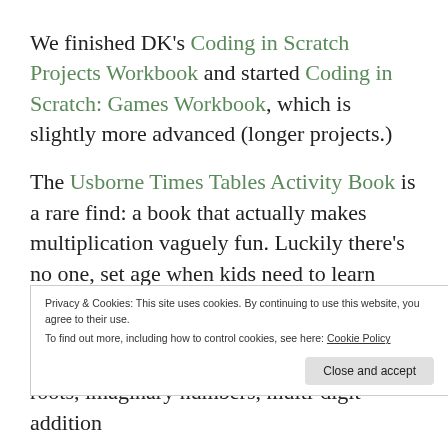We finished DK's Coding in Scratch Projects Workbook and started Coding in Scratch: Games Workbook, which is slightly more advanced (longer projects.)
The Usborne Times Tables Activity Book is a rare find: a book that actually makes multiplication vaguely fun. Luckily there's no one, set age when kids need to learn their multiplication tables–so multiple kids can practice their tables together.
Privacy & Cookies: This site uses cookies. By continuing to use this website, you agree to their use.
To find out more, including how to control cookies, see here: Cookie Policy
Close and accept
roots, imaginary numbers, multi-digit addition